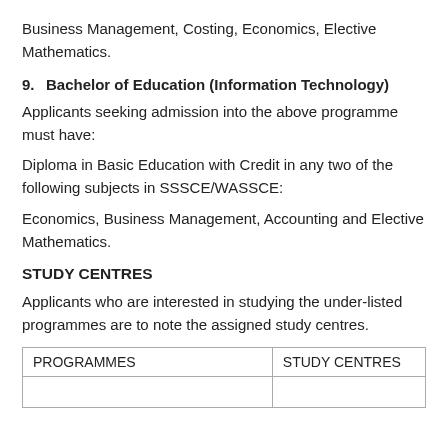Business Management, Costing, Economics, Elective Mathematics.
9.   Bachelor of Education (Information Technology)
Applicants seeking admission into the above programme must have:
Diploma in Basic Education with Credit in any two of the following subjects in SSSCE/WASSCE:
Economics, Business Management, Accounting and Elective Mathematics.
STUDY CENTRES
Applicants who are interested in studying the under-listed programmes are to note the assigned study centres.
| PROGRAMMES | STUDY CENTRES |
| --- | --- |